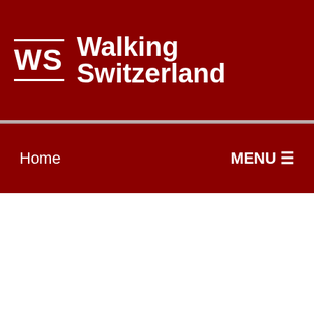WS Walking Switzerland
Home  MENU ☰